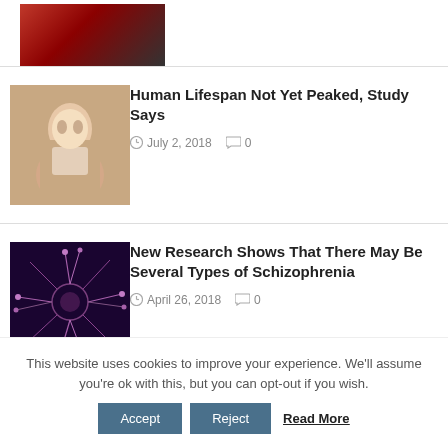[Figure (photo): Partial view of a red sports car, top-left corner of page]
[Figure (photo): Person holding a small photo/image, face reflected]
Human Lifespan Not Yet Peaked, Study Says
July 2, 2018   0
[Figure (photo): Abstract neural/brain imagery with colorful dendrite-like patterns on dark background]
New Research Shows That There May Be Several Types of Schizophrenia
April 26, 2018   0
This website uses cookies to improve your experience. We'll assume you're ok with this, but you can opt-out if you wish.